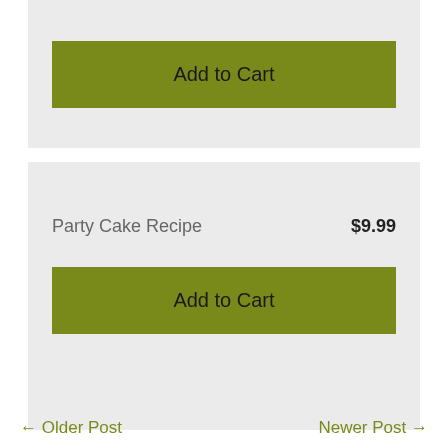[Figure (screenshot): Add to Cart button (olive green) in a light gray card section at the top]
Party Cake Recipe
$9.99
[Figure (screenshot): Add to Cart button (olive green) in a light gray card section at the bottom]
← Older Post    Newer Post →